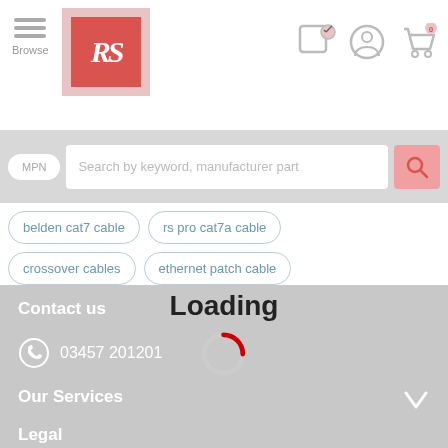[Figure (screenshot): RS Components website header with hamburger Browse menu icon, RS logo (red square with RS text), and navigation icons (location/wishlist, user account, shopping cart with 0 badge)]
[Figure (screenshot): Search bar with MPN toggle button and search input field with placeholder 'Search by keyword, manufacturer part' and pink search icon]
belden cat7 cable
rs pro cat7a cable
crossover cables
ethernet patch cable
straight through cable
white ethernet cable
yellow ethernet cable
Loading
Contact us
03457 201201
Our Services
Legal